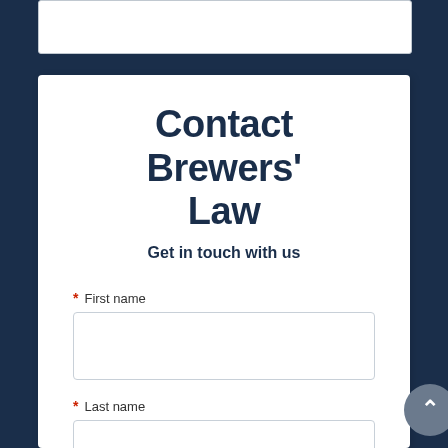[Figure (other): Partial white input field box at the top of the page, cut off]
Contact Brewers' Law
Get in touch with us
* First name
* Last name